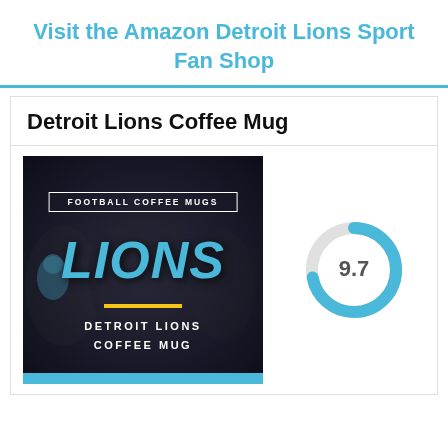Visit the Amazon Detroit Lions Sport Fan Shop
Detroit Lions Coffee Mug
[Figure (photo): Product photo of Detroit Lions Coffee Mug showing a dark background with blue LIONS text and a gold/yellow horizontal line, with text DETROIT LIONS COFFEE MUG at bottom]
[Figure (donut-chart): Score]